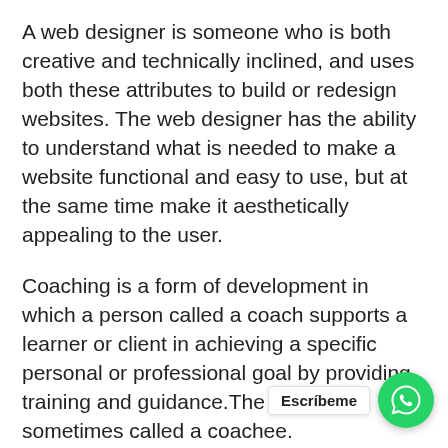A web designer is someone who is both creative and technically inclined, and uses both these attributes to build or redesign websites. The web designer has the ability to understand what is needed to make a website functional and easy to use, but at the same time make it aesthetically appealing to the user.
Coaching is a form of development in which a person called a coach supports a learner or client in achieving a specific personal or professional goal by providing training and guidance.The learner is sometimes called a coachee. Occasional' [text obscured] ea informal relationship between two people whom one has more experience and